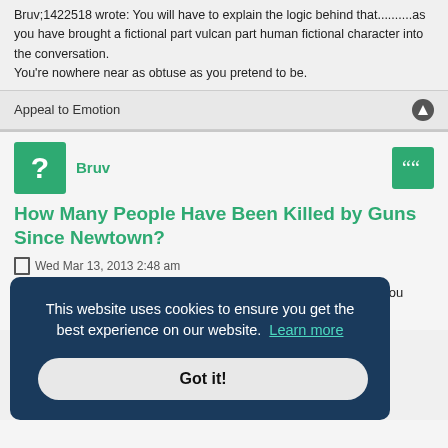Bruv;1422518 wrote: You will have to explain the logic behind that..........as you have brought a fictional part vulcan part human fictional character into the conversation.
You're nowhere near as obtuse as you pretend to be.
Appeal to Emotion
Bruv
How Many People Have Been Killed by Guns Since Newtown?
Wed Mar 13, 2013 2:48 am
Accountable;1422526 wrote: You're nowhere near as obtuse as you pretend to be.
This website uses cookies to ensure you get the best experience on our website. Learn more
Got it!